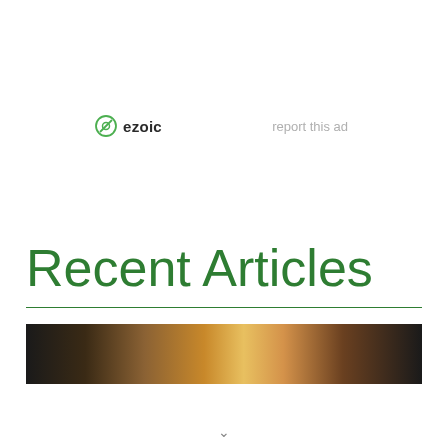[Figure (logo): Ezoic logo with circular icon and text 'ezoic', alongside 'report this ad' text link]
Recent Articles
[Figure (photo): Close-up photo of a shiny copper or bronze bowl/pan on a dark stovetop surface]